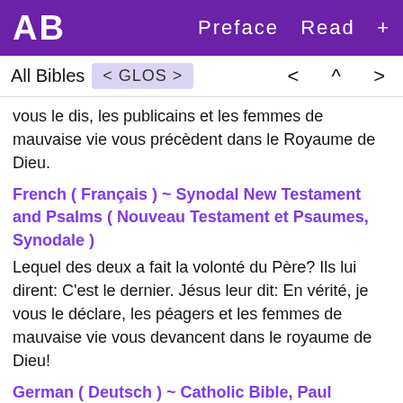AB   Preface  Read  +
All Bibles  < GLOS >   <  ^  >
vous le dis, les publicains et les femmes de mauvaise vie vous précèdent dans le Royaume de Dieu.
French ( Français ) ~ Synodal New Testament and Psalms ( Nouveau Testament et Psaumes, Synodale )
Lequel des deux a fait la volonté du Père? Ils lui dirent: C'est le dernier. Jésus leur dit: En vérité, je vous le déclare, les péagers et les femmes de mauvaise vie vous devancent dans le royaume de Dieu!
German ( Deutsch ) ~ Catholic Bible, Paul Riessler ( Katholische Bibel, Paul Riessler )
Welcher von beiden hat den Willen des Vaters erfüllt? "Der Letztere" sagten sie. Und Jesus sprach zu ihnen: "Wahrlich, ich sage euch: Zöllner und Dirnen kommen noch vor euch ins Gottesreich.